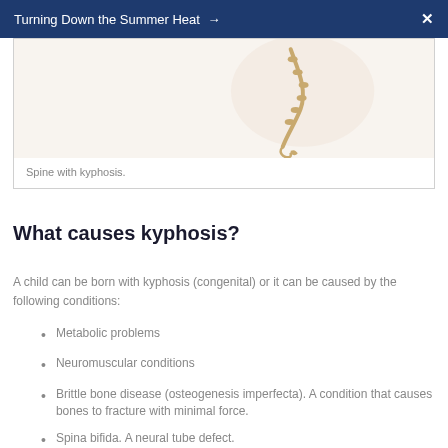Turning Down the Summer Heat →  X
[Figure (illustration): Partial view of a spine with kyphosis illustration showing a curved spine with a small figurine/charm.]
Spine with kyphosis.
What causes kyphosis?
A child can be born with kyphosis (congenital) or it can be caused by the following conditions:
Metabolic problems
Neuromuscular conditions
Brittle bone disease (osteogenesis imperfecta). A condition that causes bones to fracture with minimal force.
Spina bifida. A neural tube defect.